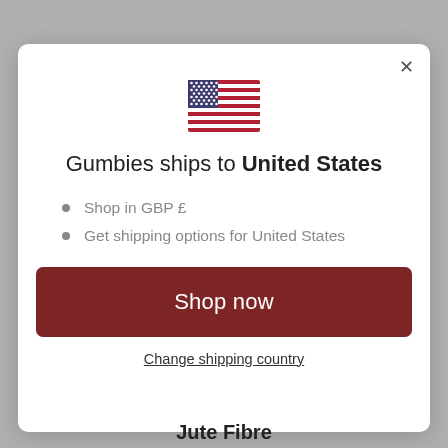[Figure (illustration): US flag icon centered at top of modal dialog]
Gumbies ships to United States
Shop in GBP £
Get shipping options for United States
Shop now
Change shipping country
Jute Fibre